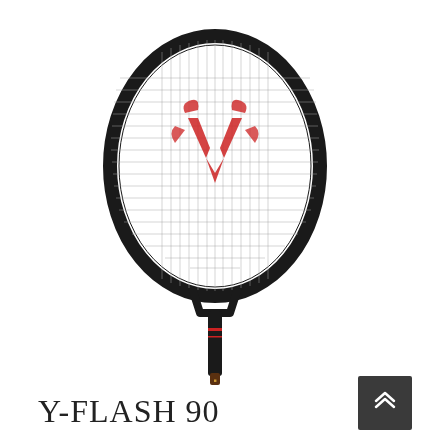[Figure (photo): A black badminton racket (Victor brand) with white strings and a red Victor logo/symbol on the string bed. The racket is oriented vertically with the head at top and handle at bottom. The frame is dark with red accents.]
Y-FLASH 90
[Figure (other): A dark grey square button with a double upward chevron (up arrow) icon in white, used as a scroll-to-top UI element.]